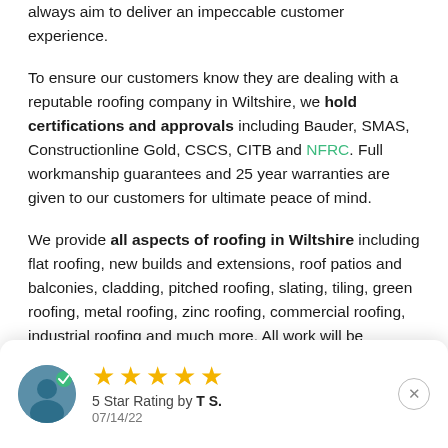always aim to deliver an impeccable customer experience.
To ensure our customers know they are dealing with a reputable roofing company in Wiltshire, we hold certifications and approvals including Bauder, SMAS, Constructionline Gold, CSCS, CITB and NFRC. Full workmanship guarantees and 25 year warranties are given to our customers for ultimate peace of mind.
We provide all aspects of roofing in Wiltshire including flat roofing, new builds and extensions, roof patios and balconies, cladding, pitched roofing, slating, tiling, green roofing, metal roofing, zinc roofing, commercial roofing, industrial roofing and much more. All work will be
[Figure (other): Review card showing a user avatar with a green checkmark badge, 5 yellow stars, '5 Star Rating by T S.' and date '07/14/22', with a close (X) button.]
excellent 5 star reputation.